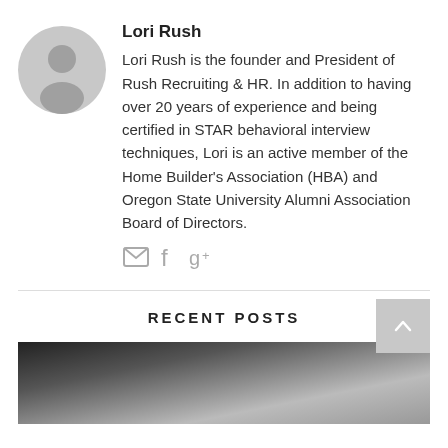[Figure (illustration): Gray circular avatar icon with a generic person silhouette]
Lori Rush
Lori Rush is the founder and President of Rush Recruiting & HR. In addition to having over 20 years of experience and being certified in STAR behavioral interview techniques, Lori is an active member of the Home Builder's Association (HBA) and Oregon State University Alumni Association Board of Directors.
[Figure (illustration): Social media icons: email envelope, Facebook f, Google+ g+]
RECENT POSTS
[Figure (photo): Blurred dark photo, partially visible at bottom of page]